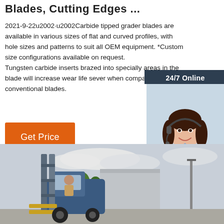Blades, Cutting Edges ...
2021-9-22u2002·u2002Carbide tipped grader blades are available in various sizes of flat and curved profiles, with hole sizes and patterns to suit all OEM equipment. *Custom size configurations available on request. Tungsten carbide inserts brazed into specially areas in the blade will increase wear life sever when compared to conventional blades.
[Figure (photo): Customer service representative woman with headset, chat widget with 24/7 Online label, Click here for free chat text, and QUOTATION button]
Get Price
[Figure (photo): Forklift vehicle photographed outdoors with industrial building in background]